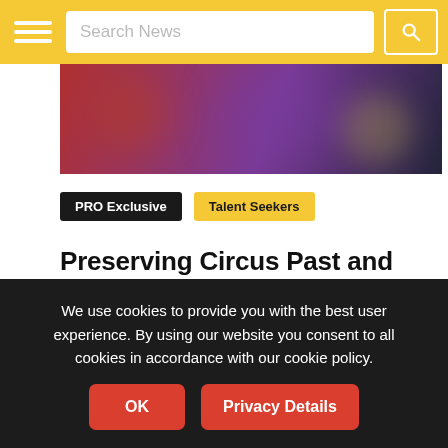Search News
[Figure (photo): Blurred dark performance/circus photo with red and purple lighting tones, cropped hero image]
PRO Exclusive   Talent Seekers
Preserving Circus Past and Nurturing its Future: A Casting Conversation with Genís Matabosch
February 21, 2022  Stacy Clark  Casting, COVER STORY, Festival, Spain
Genis Matabosch wears many hats in the circus world:
We use cookies to provide you with the best user experience. By using our website you consent to all cookies in accordance with our cookie policy.